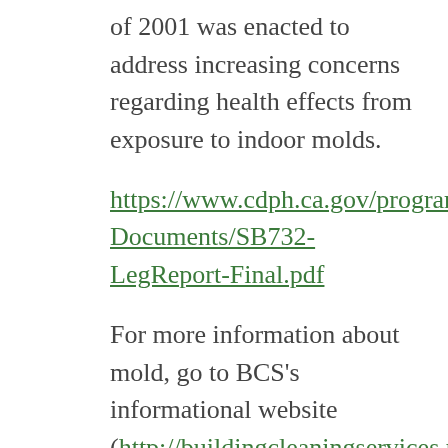of 2001 was enacted to address increasing concerns regarding health effects from exposure to indoor molds.
https://www.cdph.ca.gov/programs/IAQ/Documents/SB732-LegReport-Final.pdf
For more information about mold, go to BCS's informational website (http://buildingcleaningservices.net).
BCS provides water damage handling, mold removal services, environmental deep cleaning for companies, post construction cleaning, and commercial janitorial services for the Greater Los